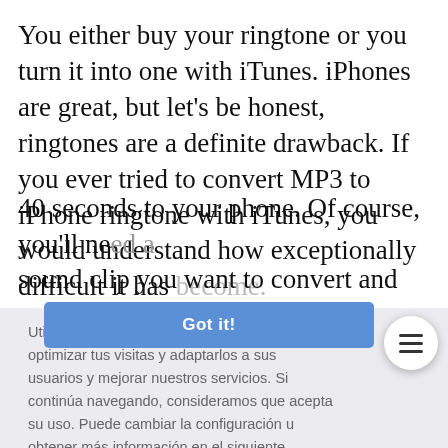You either buy your ringtone or you turn it into one with iTunes. iPhones are great, but let's be honest, ringtones are a definite drawback. If you ever tried to convert MP3 to iPhone ringtone with iTunes, you would understand how exceptionally difficult it has become.
Downloaded it and it will be added to iTunes' ringtone library. Listen and download iPhone Original Ringtone Mp3 for your mobile phone. This ringtone was uploaded by surendra dewasi to Music ringtones. Your ringtone file must be a maximum of 40 seconds long. iTunes will refuse to copy ringtones longer than 40 seconds to your phone. Of course, you'll need a sound clip you want to convert and use as a ringtone for this. You probably already have some idea of what you want to use.
Utilizamos cookies propias y de terceros para optimizar tus visitas y adaptarlos a sus usuarios y mejorar nuestros servicios. Si continúa navegando, consideramos que acepta su uso. Puede cambiar la configuración u obtener más información en el siguiente enlace. Learn more